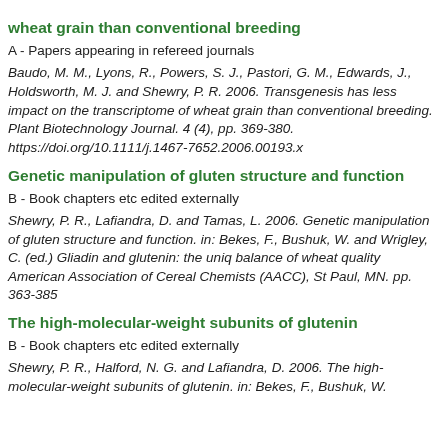wheat grain than conventional breeding
A - Papers appearing in refereed journals
Baudo, M. M., Lyons, R., Powers, S. J., Pastori, G. M., Edwards, J., Holdsworth, M. J. and Shewry, P. R. 2006. Transgenesis has less impact on the transcriptome of wheat grain than conventional breeding. Plant Biotechnology Journal. 4 (4), pp. 369-380. https://doi.org/10.1111/j.1467-7652.2006.00193.x
Genetic manipulation of gluten structure and function
B - Book chapters etc edited externally
Shewry, P. R., Lafiandra, D. and Tamas, L. 2006. Genetic manipulation of gluten structure and function. in: Bekes, F., Bushuk, W. and Wrigley, C. (ed.) Gliadin and glutenin: the unique balance of wheat quality American Association of Cereal Chemists (AACC), St Paul, MN. pp. 363-385
The high-molecular-weight subunits of glutenin
B - Book chapters etc edited externally
Shewry, P. R., Halford, N. G. and Lafiandra, D. 2006. The high-molecular-weight subunits of glutenin. in: Bekes, F., Bushuk, W.